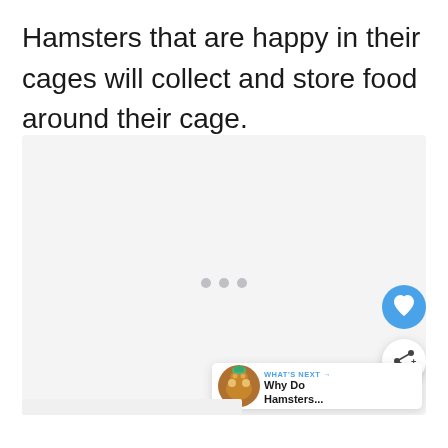Hamsters that are happy in their cages will collect and store food around their cage.
[Figure (photo): Large light gray placeholder image area with three small gray dots centered, representing a loading or empty image slot. A blue circular heart/love button and a white circular share button appear on the right side. A 'What's Next' card appears at the bottom right with a hamster thumbnail image and the text 'Why Do Hamsters...']